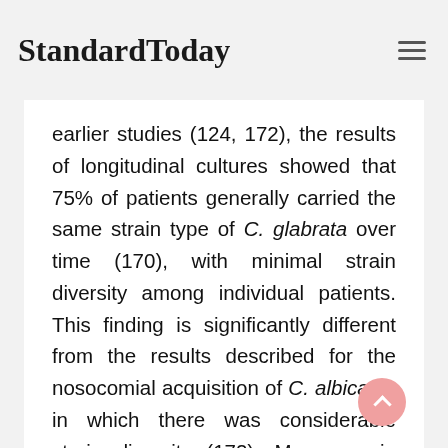StandardToday
earlier studies (124, 172), the results of longitudinal cultures showed that 75% of patients generally carried the same strain type of C. glabrata over time (170), with minimal strain diversity among individual patients. This finding is significantly different from the results described for the nosocomial acquisition of C. albicans, in which there was considerable strain diversity (172). Moreover, in this study, 71% of patients with positive C. glabrata cultures had more than one Candida species isolated. The most frequent combination was C. glabrata and C. albicans, which was found in approximately 70% of the patients. This